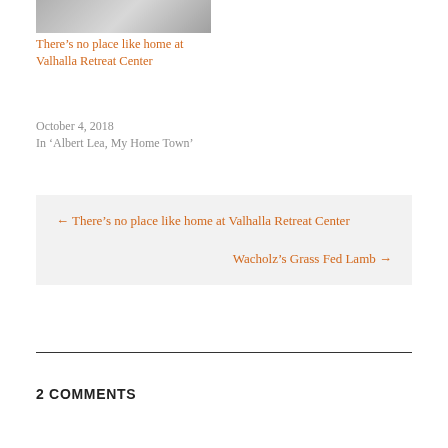[Figure (photo): Thumbnail photo of Valhalla Retreat Center interior]
There’s no place like home at Valhalla Retreat Center
October 4, 2018
In ‘Albert Lea, My Home Town’
← There’s no place like home at Valhalla Retreat Center
Wacholz’s Grass Fed Lamb →
2 COMMENTS